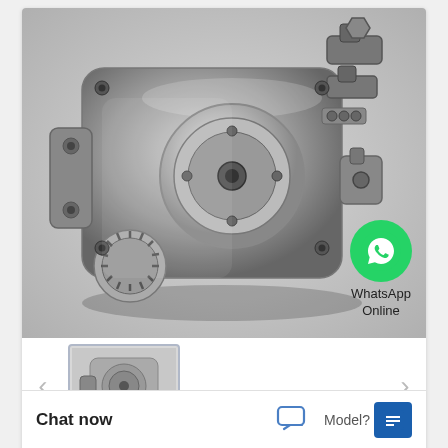[Figure (photo): Photograph of a gear oil pump assembly, metallic silver/grey color, showing housing, shaft with splines, hydraulic fittings and bolts on white/grey background.]
[Figure (photo): Thumbnail image of the same gear oil pump assembly.]
5H1719 GEAR OIL PUMP GROUP FIT 58 3H 594 D8H D9H MODELS
Chat now
Model?